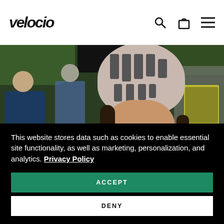velocio
[Figure (photo): A smiling woman wearing a light gray cycling helmet, laughing, at an outdoor cycling event with blurred crowd and green foliage in background. She wears a yellow/black cycling jersey.]
This website stores data such as cookies to enable essential site functionality, as well as marketing, personalization, and analytics. Privacy Policy
ACCEPT
DENY